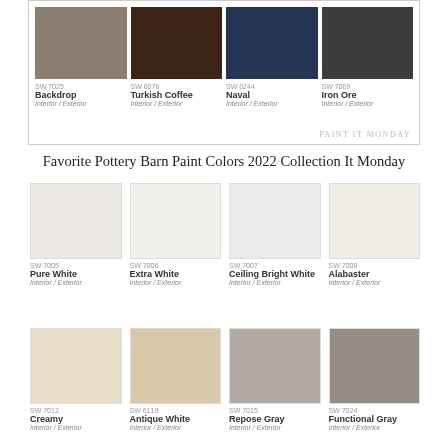[Figure (infographic): Top panel showing four paint color swatches: Backdrop SW 7025, Turkish Coffee SW 6076, Naval SW 6244, Iron Ore SW 7069, with PAINT IT MONDAY watermark]
Favorite Pottery Barn Paint Colors 2022 Collection It Monday
[Figure (infographic): Grid of 4 paint color swatches row 1: SW 7005 Pure White, SW 7006 Extra White, SW 7007 Ceiling Bright White, SW 7008 Alabaster]
[Figure (infographic): Grid of 4 paint color swatches row 2: SW 7012 Creamy, SW 6119 Antique White, SW 7015 Repose Gray, SW 7024 Functional Gray]